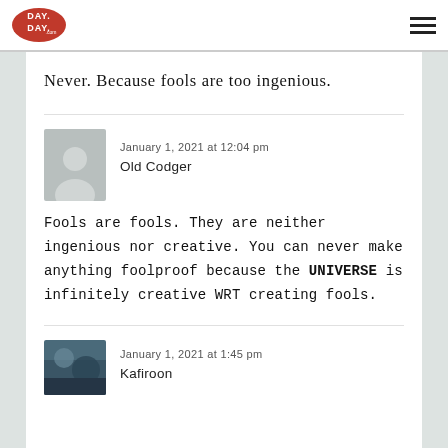Day Day (logo) | hamburger menu
Never. Because fools are too ingenious.
January 1, 2021 at 12:04 pm
Old Codger
Fools are fools. They are neither ingenious nor creative. You can never make anything foolproof because the UNIVERSE is infinitely creative WRT creating fools.
January 1, 2021 at 1:45 pm
Kafiroon